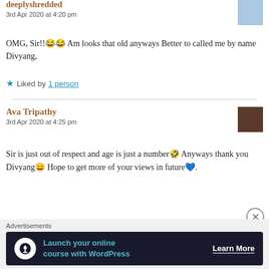deeplyshredded
3rd Apr 2020 at 4:20 pm
OMG, Sir!!😂😂 Am looks that old anyways Better to called me by name Divyang,
★ Liked by 1 person
Ava Tripathy
3rd Apr 2020 at 4:25 pm
Sir is just out of respect and age is just a number🤣 Anyways thank you Divyang😄 Hope to get more of your views in future💙.
Advertisements
Launch your online course with WordPress  Learn More